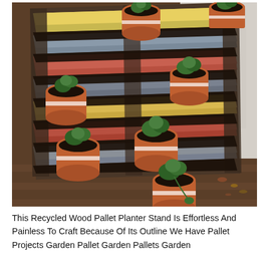[Figure (photo): A recycled wood pallet leaning against a light-colored stucco wall on a wooden deck. The pallet has horizontal slats painted in colors including red, yellow, blue, and gray. Multiple terracotta clay pots holding green succulent and herb plants are placed between the slats at different levels, forming a vertical planter stand.]
This Recycled Wood Pallet Planter Stand Is Effortless And Painless To Craft Because Of Its Outline We Have Pallet Projects Garden Pallet Garden Pallets Garden